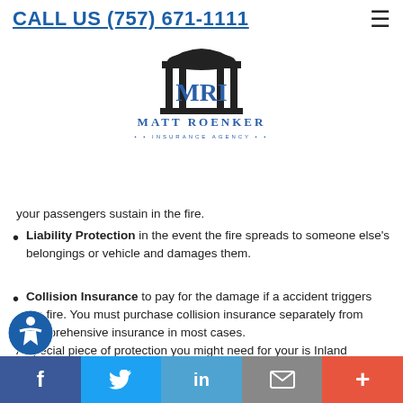CALL US (757) 671-1111
[Figure (logo): MRI Matt Roenker Insurance Agency logo with dome/building graphic above stylized MRI text]
your passengers sustain in the fire.
Liability Protection in the event the fire spreads to someone else's belongings or vehicle and damages them.
Collision Insurance to pay for the damage if a accident triggers the fire. You must purchase collision insurance separately from comprehensive insurance in most cases.
A special piece of protection you might need for your is Inland Marine Insurance. Policies can cover